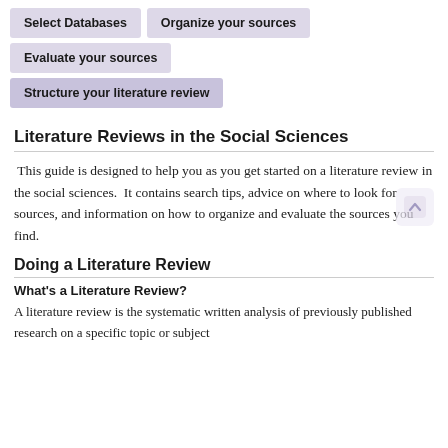Select Databases
Organize your sources
Evaluate your sources
Structure your literature review
Literature Reviews in the Social Sciences
This guide is designed to help you as you get started on a literature review in the social sciences. It contains search tips, advice on where to look for sources, and information on how to organize and evaluate the sources you find.
Doing a Literature Review
What's a Literature Review?
A literature review is the systematic written analysis of previously published research on a specific topic or subject